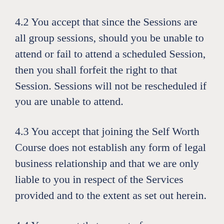4.2 You accept that since the Sessions are all group sessions, should you be unable to attend or fail to attend a scheduled Session, then you shall forfeit the right to that Session. Sessions will not be rescheduled if you are unable to attend.
4.3 You accept that joining the Self Worth Course does not establish any form of legal business relationship and that we are only liable to you in respect of the Services provided and to the extent as set out herein.
4.4 You accept that as part of your participation in the Self Worth Course that you may be required to review and make...